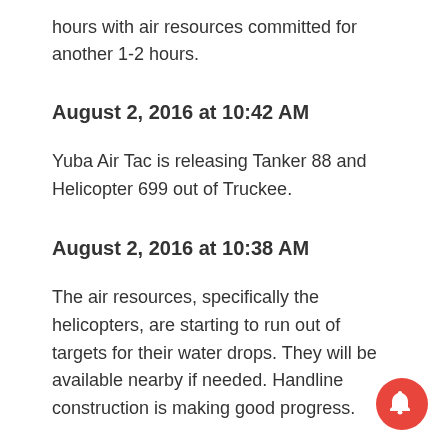hours with air resources committed for another 1-2 hours.
August 2, 2016 at 10:42 AM
Yuba Air Tac is releasing Tanker 88 and Helicopter 699 out of Truckee.
August 2, 2016 at 10:38 AM
The air resources, specifically the helicopters, are starting to run out of targets for their water drops. They will be available nearby if needed. Handline construction is making good progress.